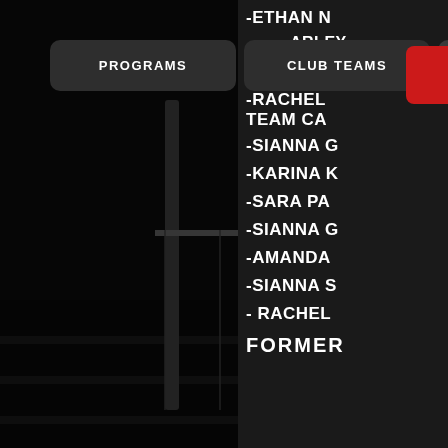[Figure (photo): Dark gymnasium volleyball action photo showing a player jumping near the net with a volleyball in the air]
PROGRAMS | CLUB TEAMS | REGISTRATION
-ETHAN N
HARLEY
-HANNA H
-RACHEL
TEAM CA
-SIANNA G
-KARINA K
-SARA PA
-SIANNA G
-AMANDA
-SIANNA S
- RACHEL
FORMER